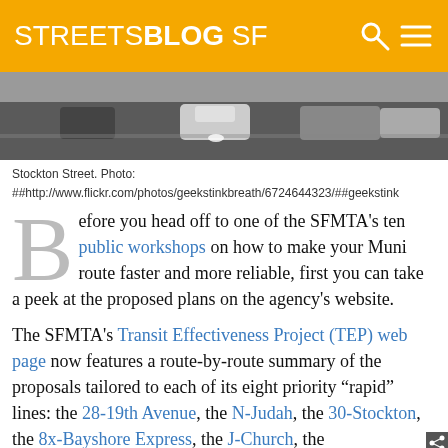STREETSBLOG SF
[Figure (photo): Street scene on Stockton Street showing cars and a bus in traffic from an elevated perspective]
Stockton Street. Photo: ##http://www.flickr.com/photos/geekstinkbreath/6724644323/##geekstink
Before you head off to one of the SFMTA's ten public workshops on how to make your Muni route faster and more reliable, first you can take a peek at the proposed plans on the agency's website.
The SFMTA's Transit Effectiveness Project (TEP) web page now features a route-by-route summary of the proposals tailored to each of its eight priority “rapid” lines: the 28-19th Avenue, the N-Judah, the 30-Stockton, the 8x-Bayshore Express, the J-Church, the